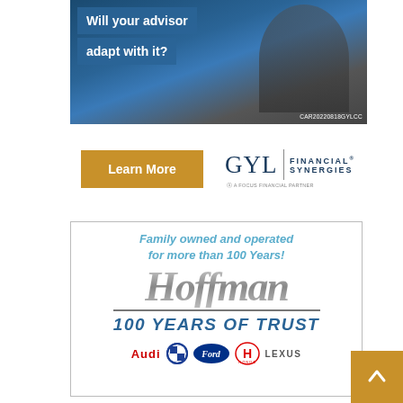[Figure (photo): GYL Financial Synergies advertisement with blue background showing text 'Will your advisor adapt with it?' and a person in background, with code CAR20220818GYLCC]
[Figure (logo): GYL Financial Synergies logo with 'Learn More' button in gold/amber color]
[Figure (illustration): Hoffman auto dealership advertisement: 'Family owned and operated for more than 100 Years!' with Hoffman logo and '100 YEARS OF TRUST' tagline, showing Audi, BMW, Ford, Honda, Lexus brand logos]